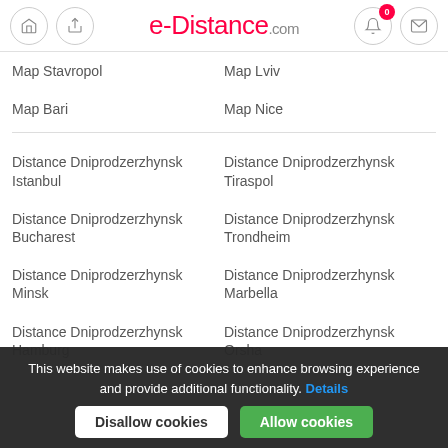e-Distance.com
Map Stavropol
Map Lviv
Map Bari
Map Nice
Distance Dniprodzerzhynsk Istanbul
Distance Dniprodzerzhynsk Tiraspol
Distance Dniprodzerzhynsk Bucharest
Distance Dniprodzerzhynsk Trondheim
Distance Dniprodzerzhynsk Minsk
Distance Dniprodzerzhynsk Marbella
Distance Dniprodzerzhynsk Hamburg
Distance Dniprodzerzhynsk Orsha
This website makes use of cookies to enhance browsing experience and provide additional functionality. Details